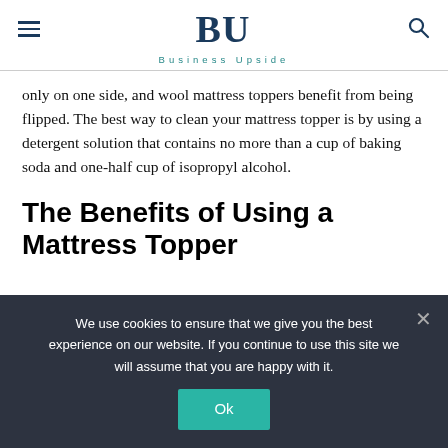BU — Business Upside
only on one side, and wool mattress toppers benefit from being flipped. The best way to clean your mattress topper is by using a detergent solution that contains no more than a cup of baking soda and one-half cup of isopropyl alcohol.
The Benefits of Using a Mattress Topper
We use cookies to ensure that we give you the best experience on our website. If you continue to use this site we will assume that you are happy with it.